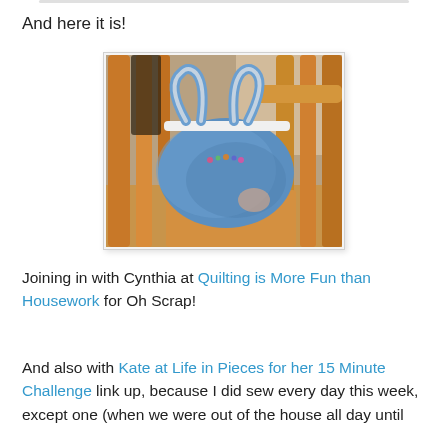And here it is!
[Figure (photo): A blue denim tote bag with white trim and small embroidered decoration, hanging on a wooden rocking chair.]
Joining in with Cynthia at Quilting is More Fun than Housework for Oh Scrap!
And also with Kate at Life in Pieces for her 15 Minute Challenge link up, because I did sew every day this week, except one (when we were out of the house all day until